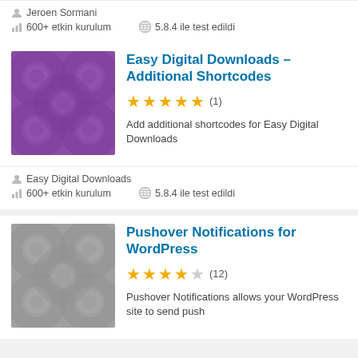Jeroen Sormani
600+ etkin kurulum
5.8.4 ile test edildi
Easy Digital Downloads – Additional Shortcodes
[Figure (illustration): Purple plugin thumbnail with overlapping circle patterns]
★★★★★ (1)
Add additional shortcodes for Easy Digital Downloads
Easy Digital Downloads
600+ etkin kurulum
5.8.4 ile test edildi
Pushover Notifications for WordPress
[Figure (illustration): Gray plugin thumbnail with overlapping circle patterns]
★★★★☆ (12)
Pushover Notifications allows your WordPress site to send push